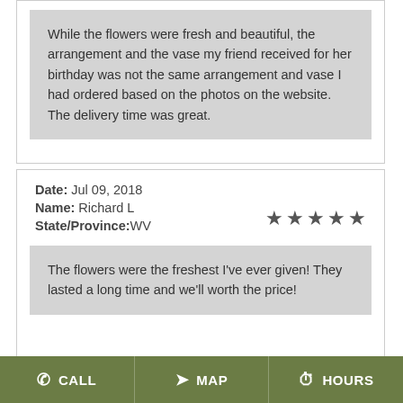While the flowers were fresh and beautiful, the arrangement and the vase my friend received for her birthday was not the same arrangement and vase I had ordered based on the photos on the website. The delivery time was great.
Date: Jul 09, 2018
Name: Richard L
State/Province:WV
The flowers were the freshest I've ever given! They lasted a long time and we'll worth the price!
CALL  MAP  HOURS